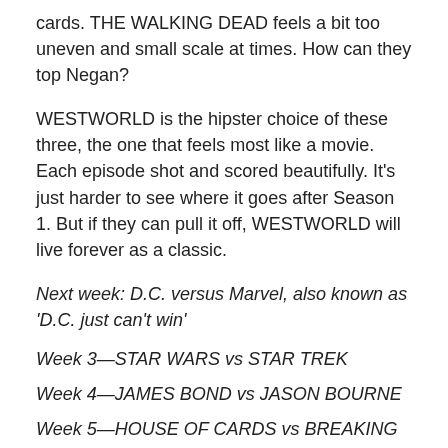cards. THE WALKING DEAD feels a bit too uneven and small scale at times. How can they top Negan?
WESTWORLD is the hipster choice of these three, the one that feels most like a movie. Each episode shot and scored beautifully. It’s just harder to see where it goes after Season 1. But if they can pull it off, WESTWORLD will live forever as a classic.
Next week: D.C. versus Marvel, also known as ‘D.C. just can’t win’
Week 3—STAR WARS vs STAR TREK
Week 4—JAMES BOND vs JASON BOURNE
Week 5—HOUSE OF CARDS vs BREAKING BAD
Week 6—HARRY POTTER vs LORD OF THE RINGS